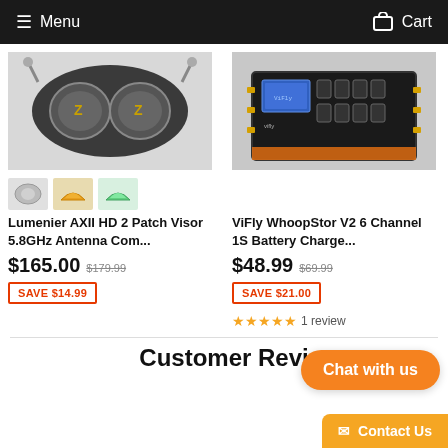Menu   Cart
[Figure (photo): Lumenier AXII HD 2 Patch Visor FPV goggles product image with accessories (silver, amber, green lenses)]
Lumenier AXII HD 2 Patch Visor 5.8GHz Antenna Com...
$165.00  $179.99
SAVE $14.99
[Figure (photo): ViFly WhoopStor V2 6 Channel 1S Battery Charger product image]
ViFly WhoopStor V2 6 Channel 1S Battery Charge...
$48.99  $69.99
SAVE $21.00
1 review
Chat with us
Contact Us
Customer Revi...